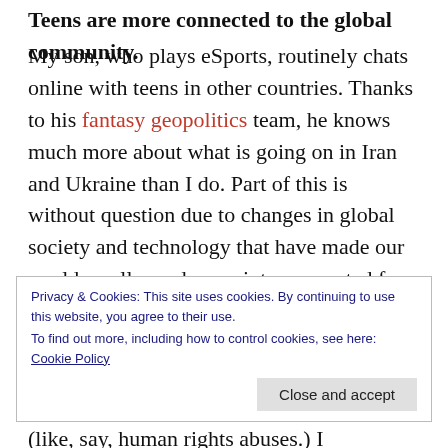Teens are more connected to the global community.
My son, who plays eSports, routinely chats online with teens in other countries.  Thanks to his fantasy geopolitics team, he knows much more about what is going on in Iran and Ukraine than I do.  Part of this is without question due to changes in global society and technology that have made our world smaller and more interconnected for all of us.   But I think this increased connection across borders can only be good for the future of our planet, particularly when it comes to solving big problems (like, say,  human rights abuses.) I
Privacy & Cookies: This site uses cookies. By continuing to use this website, you agree to their use.
To find out more, including how to control cookies, see here: Cookie Policy
Close and accept